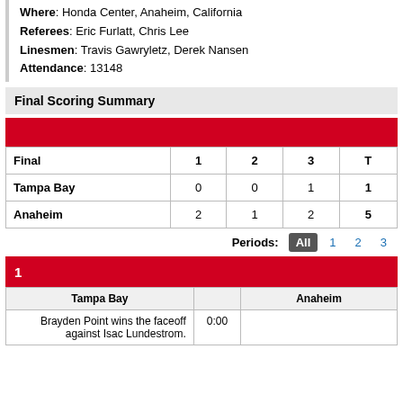Where: Honda Center, Anaheim, California
Referees: Eric Furlatt, Chris Lee
Linesmen: Travis Gawryletz, Derek Nansen
Attendance: 13148
Final Scoring Summary
| Final | 1 | 2 | 3 | T |
| --- | --- | --- | --- | --- |
| Tampa Bay | 0 | 0 | 1 | 1 |
| Anaheim | 2 | 1 | 2 | 5 |
Periods: All 1 2 3
| Tampa Bay |  | Anaheim |
| --- | --- | --- |
| Brayden Point wins the faceoff against Isac Lundestrom. | 0:00 |  |